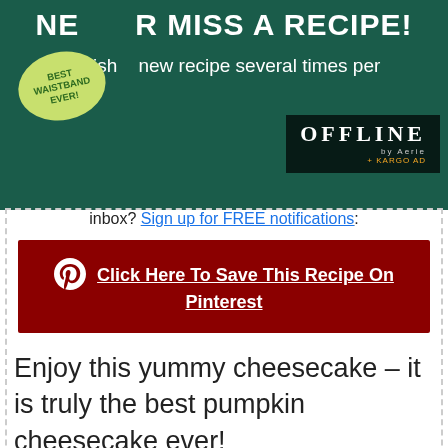[Figure (photo): Ad banner with green background showing woman sitting and text NEVER MISS A RECIPE! with BEST WAISTBAND EVER badge and OFFLINE by Aerie + KARGO AD overlay]
inbox? Sign up for FREE notifications!
[Figure (infographic): Dark red Pinterest button with Pinterest logo icon and text: Click Here To Save This Recipe On Pinterest]
Enjoy this yummy cheesecake – it is truly the best pumpkin cheesecake ever!